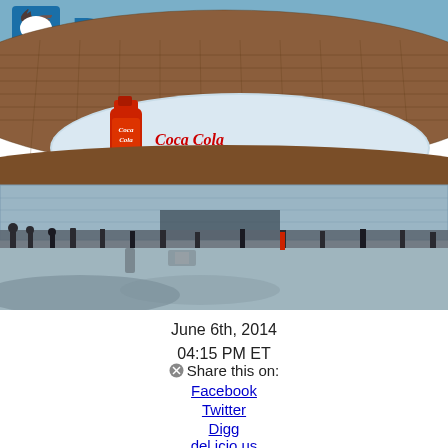[Figure (photo): Exterior photo of Barclays Center arena in Brooklyn, NY. The distinctive dome-shaped building with weathered steel facade is shown from ground level. A Coca-Cola advertisement is visible through the central opening of the building. People are gathered in the plaza area in front of the venue.]
June 6th, 2014
04:15 PM ET
Share this on:
Facebook
Twitter
Digg
del.icio.us